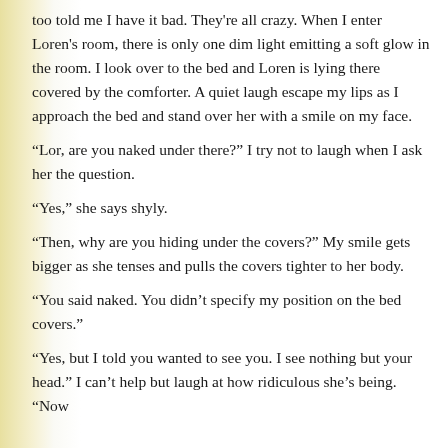too told me I have it bad. They're all crazy. When I enter Loren's room, there is only one dim light emitting a soft glow in the room. I look over to the bed and Loren is lying there covered by the comforter. A quiet laugh escape my lips as I approach the bed and stand over her with a smile on my face.
“Lor, are you naked under there?” I try not to laugh when I ask her the question.
“Yes,” she says shyly.
“Then, why are you hiding under the covers?” My smile gets bigger as she tenses and pulls the covers tighter to her body.
“You said naked. You didn’t specify my position on the bed covers.”
“Yes, but I told you wanted to see you. I see nothing but your head.” I can’t help but laugh at how ridiculous she’s being. “Now